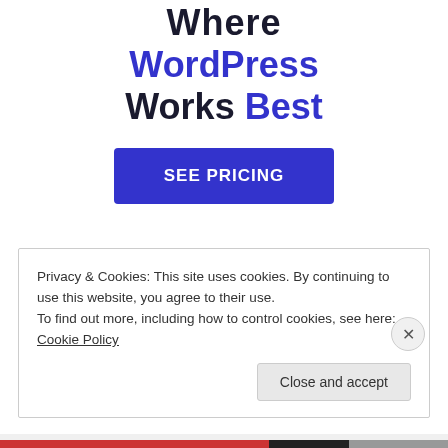Where WordPress Works Best
[Figure (other): SEE PRICING button — a large blue call-to-action button with white uppercase text]
Privacy & Cookies: This site uses cookies. By continuing to use this website, you agree to their use.
To find out more, including how to control cookies, see here: Cookie Policy
Close and accept